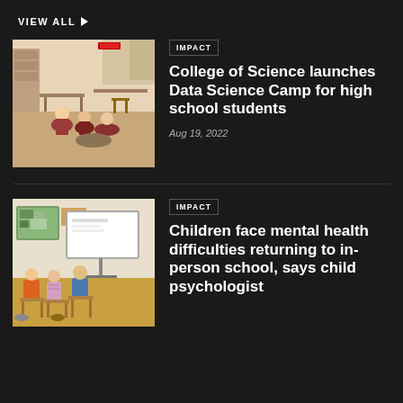VIEW ALL ▶
[Figure (photo): Students sitting in a classroom on the floor and at desks, wearing maroon/red shirts, in a casual learning environment.]
IMPACT
College of Science launches Data Science Camp for high school students
Aug 19, 2022
[Figure (photo): Elementary school classroom with students sitting at desks, a whiteboard at the front, and colorful maps on the wall.]
IMPACT
Children face mental health difficulties returning to in-person school, says child psychologist